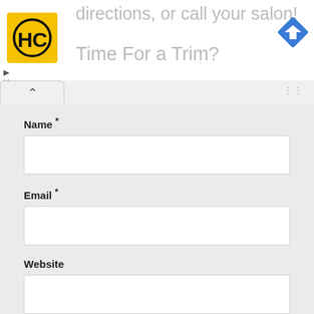[Figure (logo): HC logo - yellow square with black HC letters in a circular design]
directions, or call your salon!
[Figure (illustration): Blue diamond-shaped turn right navigation icon]
Time For a Trim?
Name *
Email *
Website
POST COMMENT